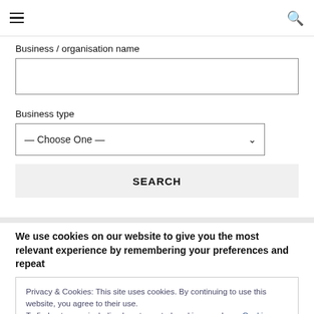Navigation menu and search icons
Business / organisation name
Business type
— Choose One —
SEARCH
We use cookies on our website to give you the most relevant experience by remembering your preferences and repeat
Privacy & Cookies: This site uses cookies. By continuing to use this website, you agree to their use.
To find out more, including how to control cookies, see here: Cookie Policy
Close and accept